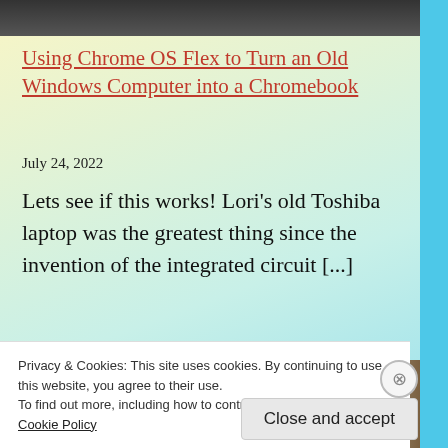[Figure (photo): Top portion of a photo showing a dark object, partially cropped at top of page]
Using Chrome OS Flex to Turn an Old Windows Computer into a Chromebook
July 24, 2022
Lets see if this works! Lori's old Toshiba laptop was the greatest thing since the invention of the integrated circuit [...]
[Figure (photo): Photo of a white rounded device sitting on a wooden surface]
Privacy & Cookies: This site uses cookies. By continuing to use this website, you agree to their use.
To find out more, including how to control cookies, see here: Cookie Policy
Close and accept